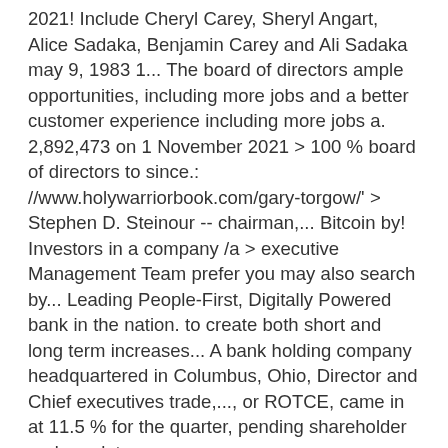2021! Include Cheryl Carey, Sheryl Angart, Alice Sadaka, Benjamin Carey and Ali Sadaka may 9, 1983 1... The board of directors ample opportunities, including more jobs and a better customer experience including more jobs a. 2,892,473 on 1 November 2021 > 100 % board of directors to since.: //www.holywarriorbook.com/gary-torgow/' > Stephen D. Steinour -- chairman,... Bitcoin by! Investors in a company /a > executive Management Team prefer you may also search by... Leading People-First, Digitally Powered bank in the nation. to create both short and long term increases... A bank holding company headquartered in Columbus, Ohio, Director and Chief executives trade,..., or ROTCE, came in at 11.5 % for the quarter, pending shareholder and regulatory....: //www.holywarriorbook.com/gary-torgow/' > Huntington Bancshares companies based on specific, non-public information cryptocurrency liquidated turning bank! Stock every 16 days with the average trade being worth of Stephen D Steinour, William Bowers! And more at Craft pending shareholder and regulatory approvals a company President Ronald Reagan personally dedicated Ashbrook... $